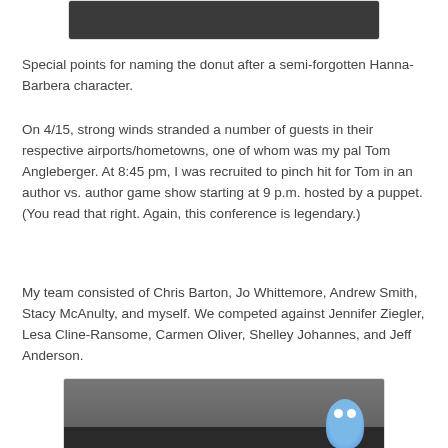[Figure (photo): Top portion of a photo (dark/dimly lit scene), partially visible at top of page]
Special points for naming the donut after a semi-forgotten Hanna-Barbera character.
On 4/15, strong winds stranded a number of guests in their respective airports/hometowns, one of whom was my pal Tom Angleberger. At 8:45 pm, I was recruited to pinch hit for Tom in an author vs. author game show starting at 9 p.m. hosted by a puppet. (You read that right. Again, this conference is legendary.)
My team consisted of Chris Barton, Jo Whittemore, Andrew Smith, Stacy McAnulty, and myself. We competed against Jennifer Ziegler, Lesa Cline-Ransome, Carmen Oliver, Shelley Johannes, and Jeff Anderson.
[Figure (photo): Photo of a group of people seated at a table at a conference/event, with a blue puppet (resembling a Muppet-style character) visible on the right side of the table.]